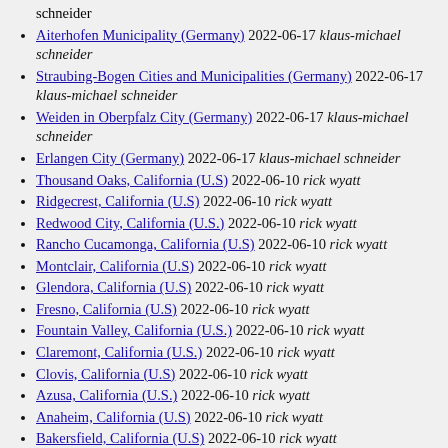schneider (partial, top of page)
Aiterhofen Municipality (Germany) 2022-06-17 klaus-michael schneider
Straubing-Bogen Cities and Municipalities (Germany) 2022-06-17 klaus-michael schneider
Weiden in Oberpfalz City (Germany) 2022-06-17 klaus-michael schneider
Erlangen City (Germany) 2022-06-17 klaus-michael schneider
Thousand Oaks, California (U.S) 2022-06-10 rick wyatt
Ridgecrest, California (U.S) 2022-06-10 rick wyatt
Redwood City, California (U.S.) 2022-06-10 rick wyatt
Rancho Cucamonga, California (U.S) 2022-06-10 rick wyatt
Montclair, California (U.S) 2022-06-10 rick wyatt
Glendora, California (U.S) 2022-06-10 rick wyatt
Fresno, California (U.S) 2022-06-10 rick wyatt
Fountain Valley, California (U.S.) 2022-06-10 rick wyatt
Claremont, California (U.S.) 2022-06-10 rick wyatt
Clovis, California (U.S) 2022-06-10 rick wyatt
Azusa, California (U.S.) 2022-06-10 rick wyatt
Anaheim, California (U.S) 2022-06-10 rick wyatt
Bakersfield, California (U.S) 2022-06-10 rick wyatt
Yuma, Arizona (U.S.) 2022-06-10 rick wyatt
Thatcher, Arizona (U.S.) 2022-06-10 rick wyatt
Show Low, Arizona (U.S.) 2022-06-10 rick wyatt
Prescott, Arizona (U.S.) 2022-06-10 rick wyatt (partial, bottom of page)